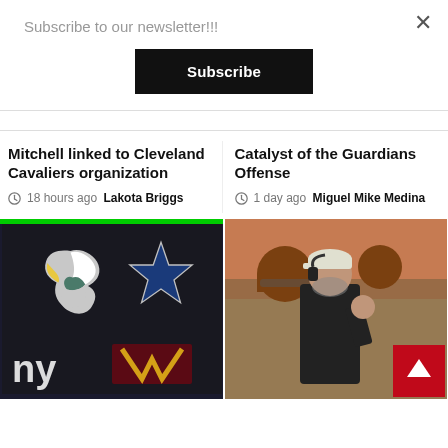Subscribe to our newsletter!!!
Subscribe
×
Mitchell linked to Cleveland Cavaliers organization
18 hours ago  Lakota Briggs
Catalyst of the Guardians Offense
1 day ago  Miguel Mike Medina
[Figure (photo): Eagles, Cowboys, Giants, and Washington NFL team logos on a dark background with green bar at top]
[Figure (photo): NFL coach wearing headset and dark jacket on sideline with players in brown and orange helmets in background]